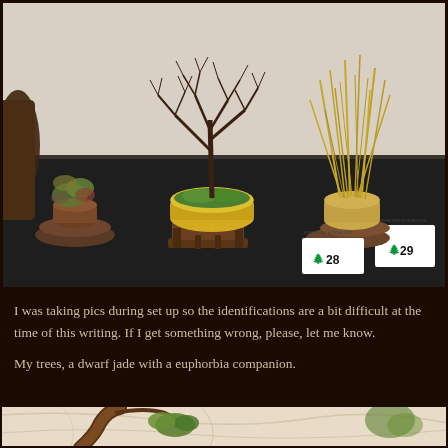[Figure (photo): Three bonsai/accent plants displayed on a dark table at a show. Left: small leafy plant on a rock slab. Center: bare branched tree in a yellow oval pot on a wooden stand, with a white number tag '29'. Right: dried grass-like plant in a tan round pot on rock slabs, with a white number tag '28'.]
I was taking pics during set up so the identifications are a bit difficult at the time of this writing. If I get something wrong, please, let me know.
My trees, a dwarf jade with a euphorbia companion.
[Figure (photo): Partial view of a bonsai tree with a thick curved trunk and small green foliage, displayed against a light marbled background.]